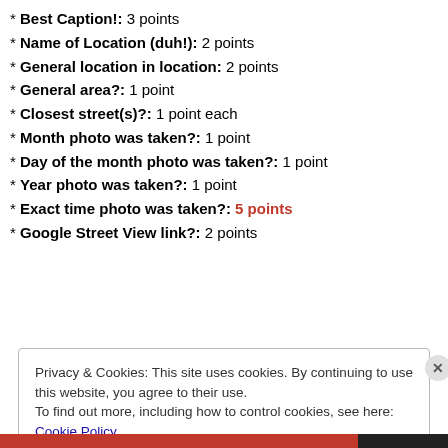* Best Caption!: 3 points
* Name of Location (duh!): 2 points
* General location in location: 2 points
* General area?: 1 point
* Closest street(s)?: 1 point each
* Month photo was taken?: 1 point
* Day of the month photo was taken?: 1 point
* Year photo was taken?: 1 point
* Exact time photo was taken?: 5 points
* Google Street View link?: 2 points
Privacy & Cookies: This site uses cookies. By continuing to use this website, you agree to their use. To find out more, including how to control cookies, see here: Cookie Policy